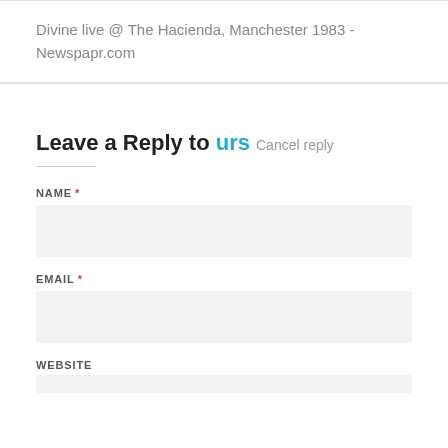Divine live @ The Hacienda, Manchester 1983 - Newspapr.com
Leave a Reply to urs  Cancel reply
NAME *
EMAIL *
WEBSITE